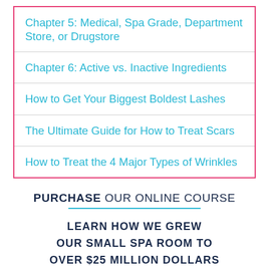Chapter 5: Medical, Spa Grade, Department Store, or Drugstore
Chapter 6: Active vs. Inactive Ingredients
How to Get Your Biggest Boldest Lashes
The Ultimate Guide for How to Treat Scars
How to Treat the 4 Major Types of Wrinkles
PURCHASE OUR ONLINE COURSE
LEARN HOW WE GREW OUR SMALL SPA ROOM TO OVER $25 MILLION DOLLARS